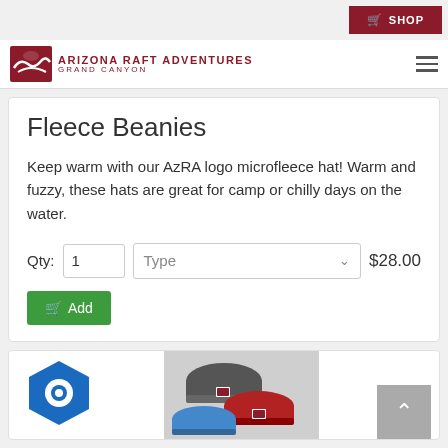SHOP
[Figure (logo): Arizona Raft Adventures Grand Canyon logo with raft icon]
Fleece Beanies
Keep warm with our AzRA logo microfleece hat! Warm and fuzzy, these hats are great for camp or chilly days on the water.
Qty: 1  Type  $28.00  Add
[Figure (photo): Blue hexagonal chat widget icon and photo of multiple fleece beanies in blue, grey, and red colors with AzRA logo patches]